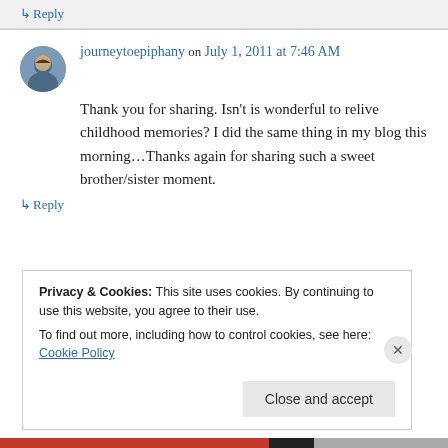↳ Reply
journeytoepiphany on July 1, 2011 at 7:46 AM
Thank you for sharing. Isn't is wonderful to relive childhood memories? I did the same thing in my blog this morning…Thanks again for sharing such a sweet brother/sister moment.
↳ Reply
Privacy & Cookies: This site uses cookies. By continuing to use this website, you agree to their use.
To find out more, including how to control cookies, see here: Cookie Policy
Close and accept